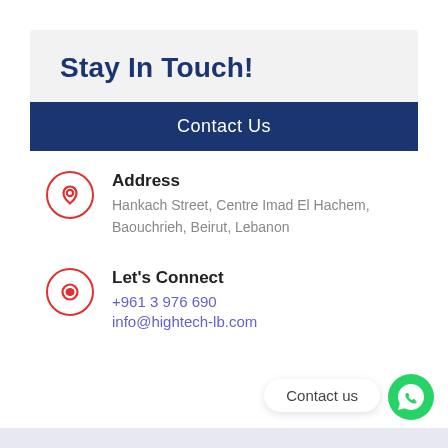Stay In Touch!
Contact Us
Address
Hankach Street, Centre Imad El Hachem, Baouchrieh, Beirut, Lebanon
Let's Connect
+961 3 976 690
info@hightech-lb.com
[Figure (logo): WhatsApp contact us button with green WhatsApp icon]